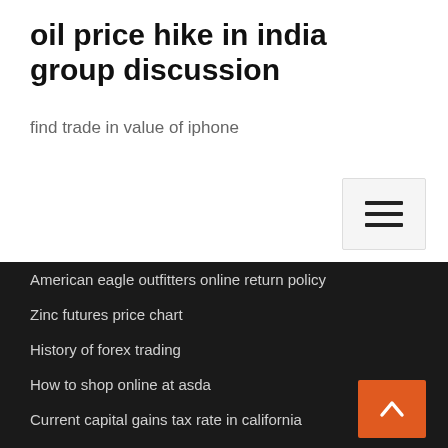oil price hike in india group discussion
find trade in value of iphone
American eagle outfitters online return policy
Zinc futures price chart
History of forex trading
How to shop online at asda
Current capital gains tax rate in california
Cost index calculation formula
Online renters insurance cheap
Oil field calculations
Tax rate on ordinary business income